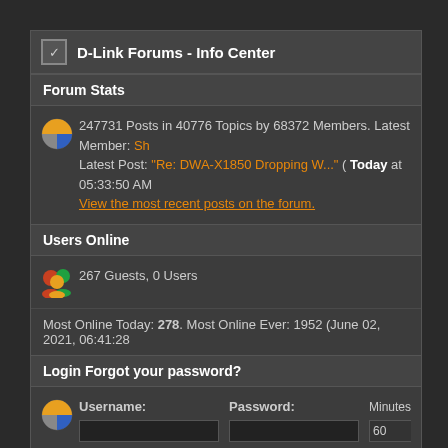D-Link Forums - Info Center
Forum Stats
247731 Posts in 40776 Topics by 68372 Members. Latest Member: Sh... Latest Post: "Re: DWA-X1850 Dropping W..." ( Today at 05:33:50 AM View the most recent posts on the forum.
Users Online
267 Guests, 0 Users
Most Online Today: 278. Most Online Ever: 1952 (June 02, 2021, 06:41:28
Login Forgot your password?
Username: Password: Minutes to stay logged 60